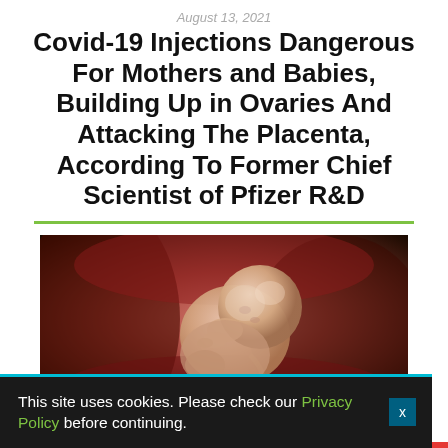August 13, 2021
Covid-19 Injections Dangerous For Mothers and Babies, Building Up in Ovaries And Attacking The Placenta, According To Former Chief Scientist of Pfizer R&D
[Figure (photo): Close-up photo of a human fetus in the womb, shown against a reddish background, curled in fetal position with visible head and limbs.]
This site uses cookies. Please check our Privacy Policy before continuing.